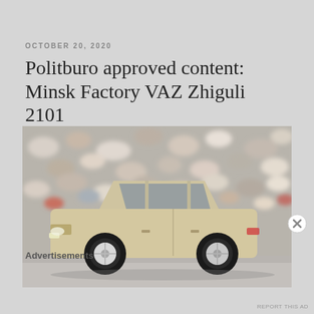OCTOBER 20, 2020
Politburo approved content: Minsk Factory VAZ Zhiguli 2101
[Figure (photo): Side-profile photograph of a beige/cream colored VAZ Zhiguli 2101 die-cast model car against a blurred pebble/gravel background]
Advertisements